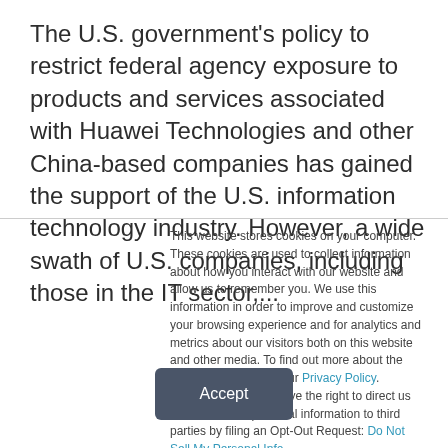The U.S. government's policy to restrict federal agency exposure to products and services associated with Huawei Technologies and other China-based companies has gained the support of the U.S. information technology industry. However, a wide swath of U.S. companies, including those in the IT sector,...
This website stores cookies on your computer. These cookies are used to collect information about how you interact with our website and allow us to remember you. We use this information in order to improve and customize your browsing experience and for analytics and metrics about our visitors both on this website and other media. To find out more about the cookies we use, see our Privacy Policy. California residents have the right to direct us not to sell their personal information to third parties by filing an Opt-Out Request: Do Not Sell My Personal Info.